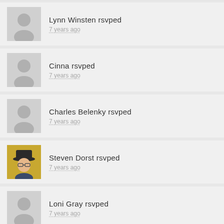Lynn Winsten rsvped
7 years ago
Cinna rsvped
7 years ago
Charles Belenky rsvped
7 years ago
Steven Dorst rsvped
7 years ago
Loni Gray rsvped
7 years ago
Emer Natalio rsvped